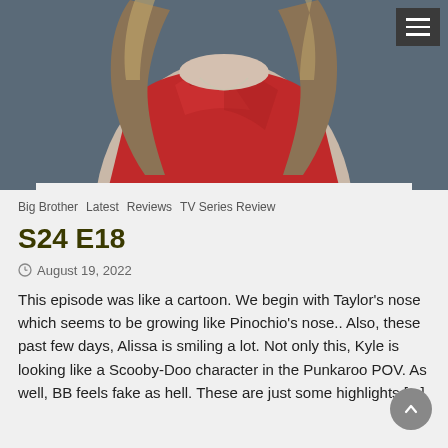[Figure (photo): A woman wearing a red sequined dress with long wavy hair, photographed from roughly chest-up against a dark gray/blue background. Only her torso and lower part of her hair are visible, head is cropped out.]
Big Brother  Latest  Reviews  TV Series Review
S24 E18
August 19, 2022
This episode was like a cartoon. We begin with Taylor's nose which seems to be growing like Pinochio's nose.. Also, these past few days, Alissa is smiling a lot. Not only this, Kyle is looking like a Scooby-Doo character in the Punkaroo POV. As well, BB feels fake as hell. These are just some highlights [...]